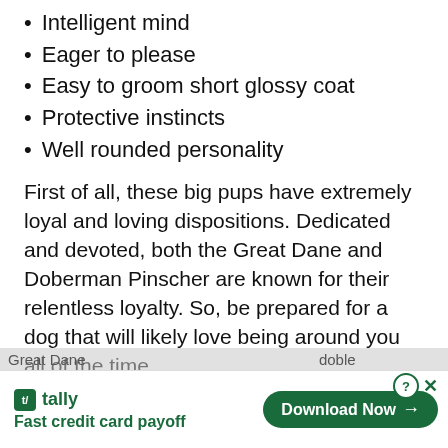Intelligent mind
Eager to please
Easy to groom short glossy coat
Protective instincts
Well rounded personality
First of all, these big pups have extremely loyal and loving dispositions. Dedicated and devoted, both the Great Dane and Doberman Pinscher are known for their relentless loyalty. So, be prepared for a dog that will likely love being around you all of the time.
Also, healthy full-grown Doberman Pinscher Great Dane...
[Figure (advertisement): Tally app advertisement banner: logo with green box, 'tally' text, tagline 'Fast credit card payoff', and a 'Download Now' button with arrow on the right. Close and help icons in the top right corner.]